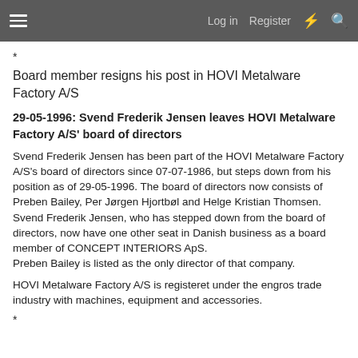≡  Log in  Register  ⚡  🔍
*
Board member resigns his post in HOVI Metalware Factory A/S
29-05-1996: Svend Frederik Jensen leaves HOVI Metalware Factory A/S' board of directors
Svend Frederik Jensen has been part of the HOVI Metalware Factory A/S's board of directors since 07-07-1986, but steps down from his position as of 29-05-1996. The board of directors now consists of Preben Bailey, Per Jørgen Hjortbøl and Helge Kristian Thomsen. Svend Frederik Jensen, who has stepped down from the board of directors, now have one other seat in Danish business as a board member of CONCEPT INTERIORS ApS.
Preben Bailey is listed as the only director of that company.
HOVI Metalware Factory A/S is registeret under the engros trade industry with machines, equipment and accessories.
*